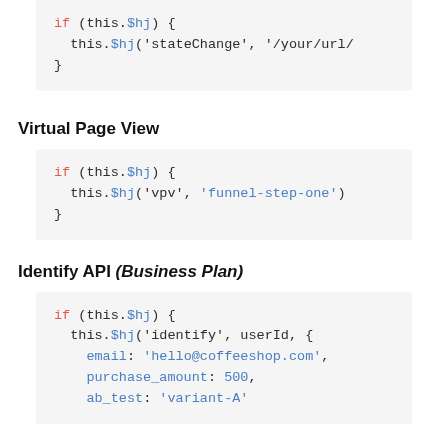if (this.$hj) {
  this.$hj('stateChange', '/your/url/'
}
Virtual Page View
if (this.$hj) {
  this.$hj('vpv', 'funnel-step-one')
}
Identify API (Business Plan)
if (this.$hj) {
  this.$hj('identify', userId, {
    email: 'hello@coffeeshop.com',
    purchase_amount: 500,
    ab_test: 'variant-A'
  }
}